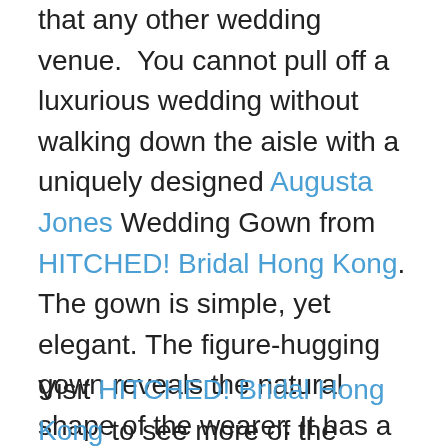that any other wedding venue. You cannot pull off a luxurious wedding without walking down the aisle with a uniquely designed Augusta Jones Wedding Gown from HITCHED! Bridal Hong Kong. The gown is simple, yet elegant. The figure-hugging gown reveals the natural shape of the wearer. It has a stylistic band on the waist that enhances the shape of the bride. One of the best ideas to hold a beautiful beach wedding is to keep it simple yet exquisite. A delicate lace covers the arms of the bride, making her look stunningly beautiful and breathtaking.
Visit HITCHED! Bridal Hong Kong to see more of the Augusta Jones wedding gowns that exude simple yet distinct luxury. Feel free to ask for recommendations from